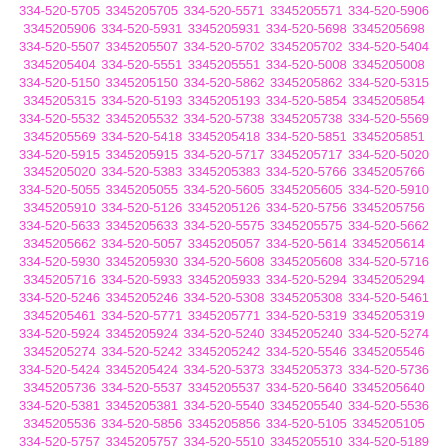334-520-5705 3345205705 334-520-5571 3345205571 334-520-5906 3345205906 334-520-5931 3345205931 334-520-5698 3345205698 334-520-5507 3345205507 334-520-5702 3345205702 334-520-5404 3345205404 334-520-5551 3345205551 334-520-5008 3345205008 334-520-5150 3345205150 334-520-5862 3345205862 334-520-5315 3345205315 334-520-5193 3345205193 334-520-5854 3345205854 334-520-5532 3345205532 334-520-5738 3345205738 334-520-5569 3345205569 334-520-5418 3345205418 334-520-5851 3345205851 334-520-5915 3345205915 334-520-5717 3345205717 334-520-5020 3345205020 334-520-5383 3345205383 334-520-5766 3345205766 334-520-5055 3345205055 334-520-5605 3345205605 334-520-5910 3345205910 334-520-5126 3345205126 334-520-5756 3345205756 334-520-5633 3345205633 334-520-5575 3345205575 334-520-5662 3345205662 334-520-5057 3345205057 334-520-5614 3345205614 334-520-5930 3345205930 334-520-5608 3345205608 334-520-5716 3345205716 334-520-5933 3345205933 334-520-5294 3345205294 334-520-5246 3345205246 334-520-5308 3345205308 334-520-5461 3345205461 334-520-5771 3345205771 334-520-5319 3345205319 334-520-5924 3345205924 334-520-5240 3345205240 334-520-5274 3345205274 334-520-5242 3345205242 334-520-5546 3345205546 334-520-5424 3345205424 334-520-5373 3345205373 334-520-5736 3345205736 334-520-5537 3345205537 334-520-5640 3345205640 334-520-5381 3345205381 334-520-5540 3345205540 334-520-5536 3345205536 334-520-5856 3345205856 334-520-5105 3345205105 334-520-5757 3345205757 334-520-5510 3345205510 334-520-5189